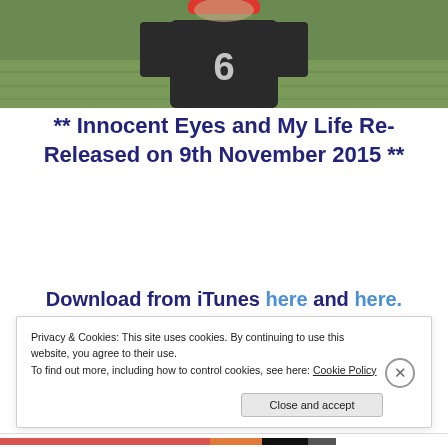[Figure (photo): Photo of a person wearing a dark sports jersey with number 6, standing on a green grass field. A red blurred redaction bar covers part of the image at top.]
** Innocent Eyes and My Life Re-Released on 9th November 2015 **
Download from iTunes here and here.
Privacy & Cookies: This site uses cookies. By continuing to use this website, you agree to their use.
To find out more, including how to control cookies, see here: Cookie Policy
Close and accept